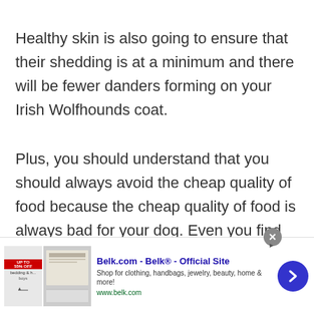Healthy skin is also going to ensure that their shedding is at a minimum and there will be fewer danders forming on your Irish Wolfhounds coat.
Plus, you should understand that you should always avoid the cheap quality of food because the cheap quality of food is always bad for your dog. Even you find cheap food that has nutritious, the bad quality of food can be harmful.
[Figure (other): Advertisement banner for Belk.com - Belk® Official Site. Shows thumbnail images of bedding/home products on the left, ad text in the middle reading 'Belk.com - Belk® - Official Site, Shop for clothing, handbags, jewelry, beauty, home & more! www.belk.com', and a blue circular arrow button on the right. A close (X) button appears at the top right of the ad.]